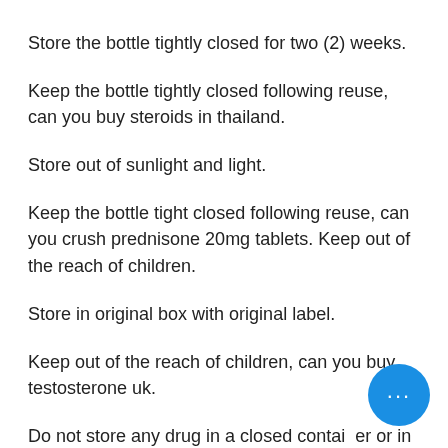Store the bottle tightly closed for two (2) weeks.
Keep the bottle tightly closed following reuse, can you buy steroids in thailand.
Store out of sunlight and light.
Keep the bottle tight closed following reuse, can you crush prednisone 20mg tablets. Keep out of the reach of children.
Store in original box with original label.
Keep out of the reach of children, can you buy testosterone uk.
Do not store any drug in a closed container or in a bathroom without the lid securely fastened.